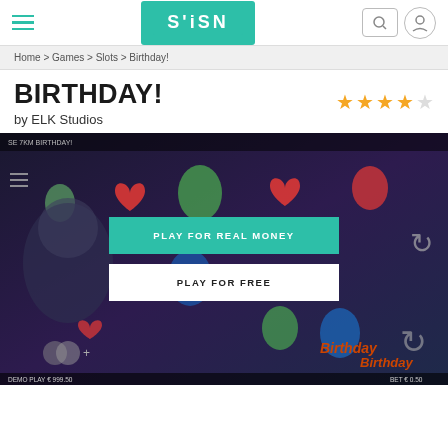SIISN — navigation header with hamburger menu, logo, search and user icon
Home > Games > Slots > Birthday!
BIRTHDAY!
by ELK Studios
[Figure (screenshot): Birthday! slot game screenshot with overlay buttons 'PLAY FOR REAL MONEY' and 'PLAY FOR FREE'. Shows colorful balloons and hearts on a dark background. Bottom bar shows 'DEMO PLAY € 999.50' and 'BET € 0.50'.]
DEMO PLAY € 999.50    BET € 0.50